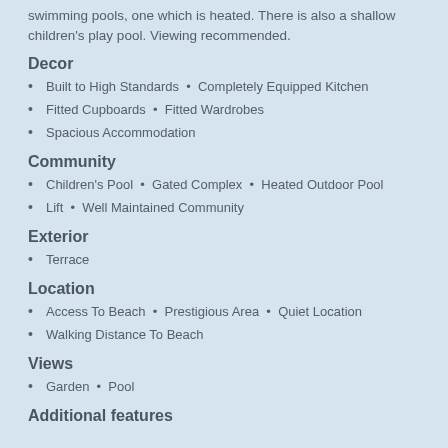swimming pools, one which is heated. There is also a shallow children's play pool. Viewing recommended.
Decor
Built to High Standards  •  Completely Equipped Kitchen
Fitted Cupboards  •  Fitted Wardrobes
Spacious Accommodation
Community
Children's Pool  •  Gated Complex  •  Heated Outdoor Pool
Lift  •  Well Maintained Community
Exterior
Terrace
Location
Access To Beach  •  Prestigious Area  •  Quiet Location
Walking Distance To Beach
Views
Garden  •  Pool
Additional features